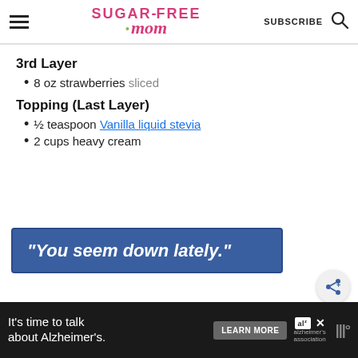Sugar-Free Mom | SUBSCRIBE
3rd Layer
8 oz strawberries sliced
Topping (Last Layer)
½ teaspoon Vanilla liquid stevia
2 cups heavy cream
[Figure (other): Blue advertisement banner with italic white text reading: "You seem down lately."]
[Figure (other): Circular share button with share icon]
It's time to talk about Alzheimer's. LEARN MORE | Alzheimer's Association logo